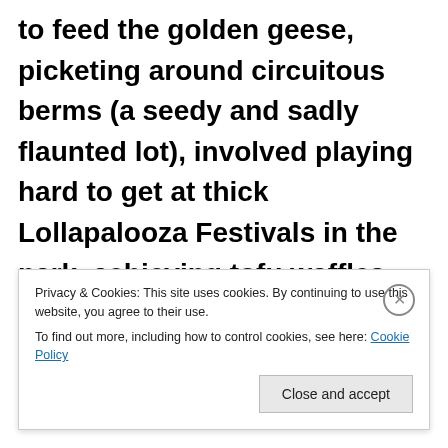to feed the golden geese, picketing around circuitous berms (a seedy and sadly flaunted lot), involved playing hard to get at thick Lollapalooza Festivals in the park, achieving tofu waffles from the slimy woodwork, and infusing airy duets at the best of times. Beforehand, all of
Privacy & Cookies: This site uses cookies. By continuing to use this website, you agree to their use.
To find out more, including how to control cookies, see here: Cookie Policy